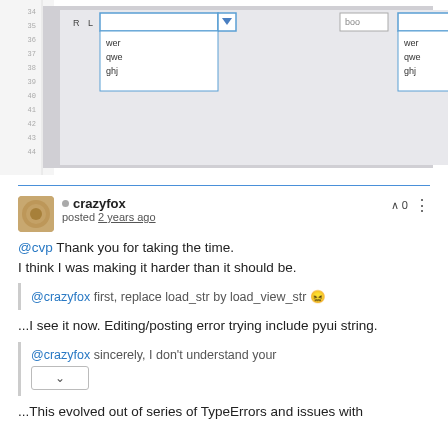[Figure (screenshot): Screenshot of a UI with two dropdown/combobox controls. Left dropdown shows items: wer, qwe, ghj. Right dropdown also shows: wer, qwe, ghj. There are labels R and L visible. Background is gray.]
crazyfox posted 2 years ago
@cvp Thank you for taking the time.
I think I was making it harder than it should be.
@crazyfox first, replace load_str by load_view_str 😖
...I see it now. Editing/posting error trying include pyui string.
@crazyfox sincerely, I don't understand your
...This evolved out of series of TypeErrors and issues with